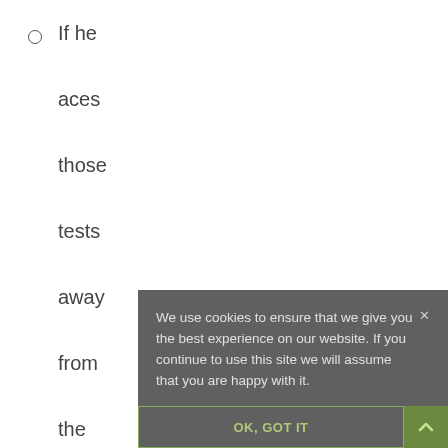If he aces those tests away from the field, it wouldn't shock me at all if he snuck into
We use cookies to ensure that we give you the best experience on our website. If you continue to use this site we will assume that you are happy with it.